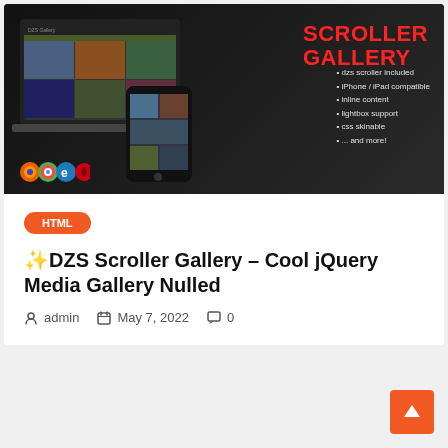[Figure (screenshot): Promotional banner for DZS Scroller Gallery plugin showing a laptop and phone displaying an image gallery on dark background, with red 'SCROLLER GALLERY' title and bullet list of features, browser icons at bottom left.]
HTML
✨DZS Scroller Gallery – Cool jQuery Media Gallery Nulled
admin  May 7, 2022  0